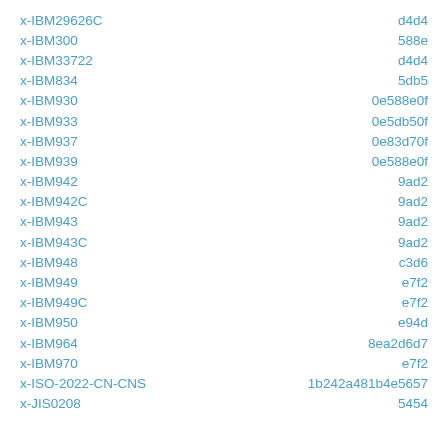| Name | Value |
| --- | --- |
| x-IBM29626C | d4d4 |
| x-IBM300 | 588e |
| x-IBM33722 | d4d4 |
| x-IBM834 | 5db5 |
| x-IBM930 | 0e588e0f |
| x-IBM933 | 0e5db50f |
| x-IBM937 | 0e83d70f |
| x-IBM939 | 0e588e0f |
| x-IBM942 | 9ad2 |
| x-IBM942C | 9ad2 |
| x-IBM943 | 9ad2 |
| x-IBM943C | 9ad2 |
| x-IBM948 | c3d6 |
| x-IBM949 | e7f2 |
| x-IBM949C | e7f2 |
| x-IBM950 | e94d |
| x-IBM964 | 8ea2d6d7 |
| x-IBM970 | e7f2 |
| x-ISO-2022-CN-CNS | 1b242a481b4e5657 |
| x-JIS0208 | 5454 |